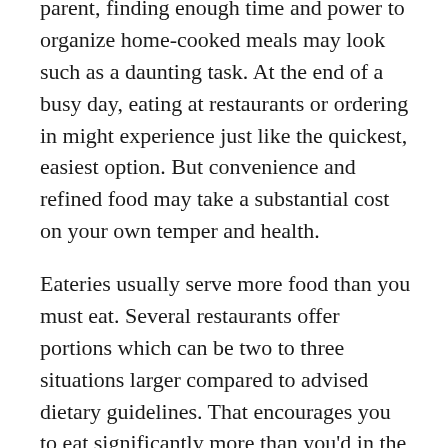parent, finding enough time and power to organize home-cooked meals may look such as a daunting task. At the end of a busy day, eating at restaurants or ordering in might experience just like the quickest, easiest option. But convenience and refined food may take a substantial cost on your own temper and health.
Eateries usually serve more food than you must eat. Several restaurants offer portions which can be two to three situations larger compared to advised dietary guidelines. That encourages you to eat significantly more than you'd in the home, adversely affecting your waistline, body stress, and threat of diabetes.